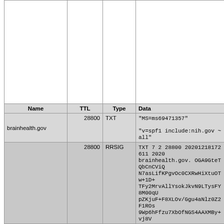| Name | TTL | Type | Data |
| --- | --- | --- | --- |
| brainhealth.gov | 28800 | TXT | "MS=ms69471357"
"v=spf1 include:nih.gov ~all" |
|  | 28800 | RRSIG | TXT 7 2 28800 20201218172611 2020 brainhealth.gov. OGA9GteTQbCnCViQ N7asLifKPgvOc0CXRwHiXtuOTw+1D+ TFy2MrvAllYsokJkvN9LTysFY8M00qU pZKjuF+F8XLOv/Ggu4aNlz0Z2F1ROs 9Wp6hFfzu7XbOfNGS4AAXMBy+vj8V |
| RR count (Answer/Authority/Additional) |  |  |  |
| Response size (bytes) |  |  |  |
| Response time (ms) |  |  |  |
Responses for brainhealth.gov/NS
|  |  |  |  |